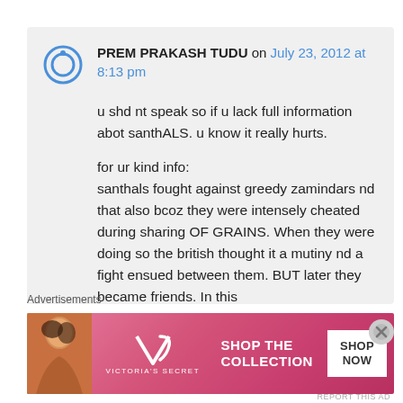PREM PRAKASH TUDU on July 23, 2012 at 8:13 pm
u shd nt speak so if u lack full information abot santhALS. u know it really hurts.

for ur kind info:
santhals fought against greedy zamindars nd that also bcoz they were intensely cheated during sharing OF GRAINS. When they were doing so the british thought it a mutiny nd a fight ensued between them. BUT later they became friends. In this
Advertisements
[Figure (illustration): Victoria's Secret advertisement banner with model photo, VS logo, 'SHOP THE COLLECTION' text and 'SHOP NOW' button]